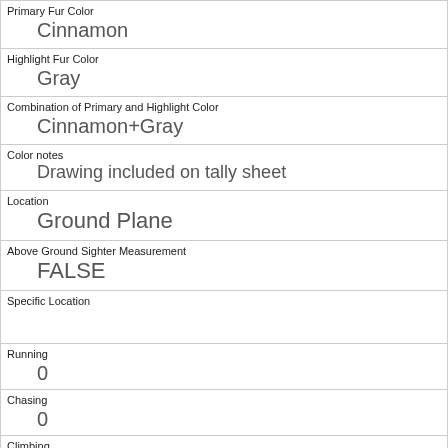| Primary Fur Color | Cinnamon |
| Highlight Fur Color | Gray |
| Combination of Primary and Highlight Color | Cinnamon+Gray |
| Color notes | Drawing included on tally sheet |
| Location | Ground Plane |
| Above Ground Sighter Measurement | FALSE |
| Specific Location |  |
| Running | 0 |
| Chasing | 0 |
| Climbing | 0 |
| Eating |  |